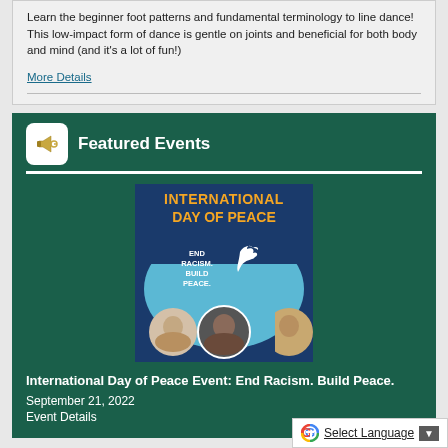Learn the beginner foot patterns and fundamental terminology to line dance! This low-impact form of dance is gentle on joints and beneficial for both body and mind (and it's a lot of fun!)
More Details
Featured Events
[Figure (photo): International Day of Peace event promotional image showing 'INTERNATIONAL DAY OF PEACE' in orange text, 'END RACISM. BUILD PEACE.' text with a white dove, blue background, and three circular portraits of speakers at the bottom.]
International Day of Peace Event: End Racism. Build Peace.
September 21, 2022
Event Details